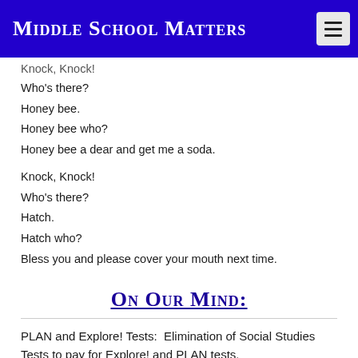Middle School Matters
Knock, Knock!
Who's there?
Honey bee.
Honey bee who?
Honey bee a dear and get me a soda.
Knock, Knock!
Who's there?
Hatch.
Hatch who?
Bless you and please cover your mouth next time.
On Our Mind:
PLAN and Explore! Tests:  Elimination of Social Studies Tests to pay for Explore! and PLAN tests.